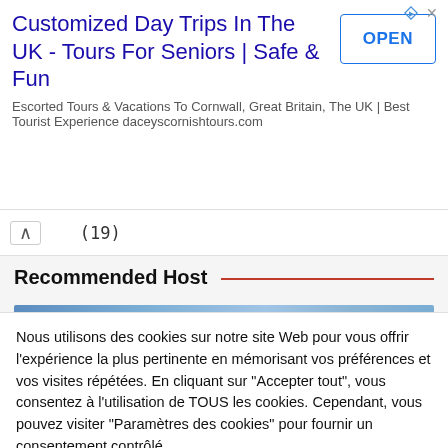[Figure (screenshot): Advertisement banner: Customized Day Trips In The UK - Tours For Seniors | Safe & Fun, with OPEN button and ad icons]
✕ (collapsed section indicator with chevron up arrow)
Recommended Host
[Figure (photo): Blue-toned banner image for Recommended Host section]
Nous utilisons des cookies sur notre site Web pour vous offrir l'expérience la plus pertinente en mémorisant vos préférences et vos visites répétées. En cliquant sur "Accepter tout", vous consentez à l'utilisation de TOUS les cookies. Cependant, vous pouvez visiter "Paramètres des cookies" pour fournir un consentement contrôlé.
Paramètres des cookies
Accepter tout